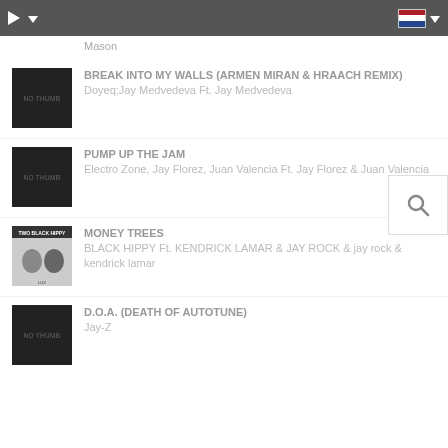Mason
[Figure (screenshot): Music player app listing with tracks]
BREAK INTO MY WALLS (ARMEN MIRAN & HRAACH REMIX)
Doyeq;Jay Medvedeva Ft. Jay Medvedeva
PUMP UP THE JAM
Electro Zone, Jay Florez, Juan Valencia Ft. Jay Florez & Juan Valencia
MONEY TREES
BLACK HIPPY Ft. KENDRICK LAMAR & JAY ROCK & jay rock & kendrick lamar
D.O.A. (DEATH OF AUTOTUNE)
Jay-Z